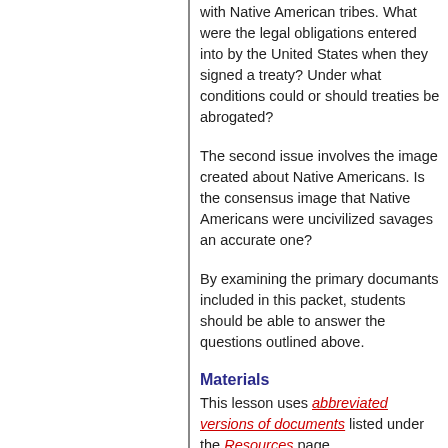with Native American tribes. What were the legal obligations entered into by the United States when they signed a treaty? Under what conditions could or should treaties be abrogated?
The second issue involves the image created about Native Americans. Is the consensus image that Native Americans were uncivilized savages an accurate one?
By examining the primary documants included in this packet, students should be able to answer the questions outlined above.
Materials
This lesson uses abbreviated versions of documents listed under the Resources page.